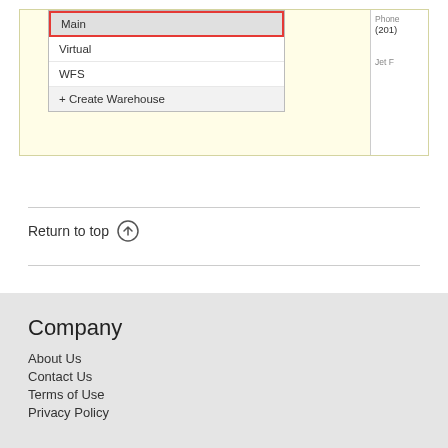[Figure (screenshot): Screenshot showing a dropdown menu with items: Main (selected, highlighted with red border), Virtual, WFS, and + Create Warehouse. To the right is a partial panel showing Phone (201) and Jet F text.]
Return to top ↑
Company
About Us
Contact Us
Terms of Use
Privacy Policy